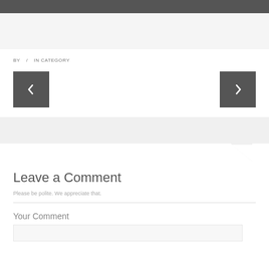BY / IN CATEGORY
[Figure (other): Left navigation arrow button (dark gray square with white left-pointing chevron)]
[Figure (other): Right navigation arrow button (dark gray square with white right-pointing chevron)]
Leave a Comment
Please be polite. We appreciate that.
Your Comment